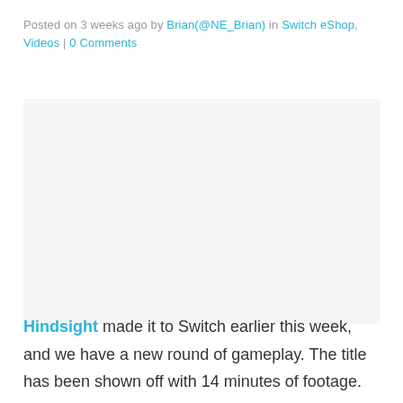Posted on 3 weeks ago by Brian(@NE_Brian) in Switch eShop, Videos | 0 Comments
[Figure (other): Embedded video player area (blank/white rectangle placeholder)]
Hindsight made it to Switch earlier this week, and we have a new round of gameplay. The title has been shown off with 14 minutes of footage.